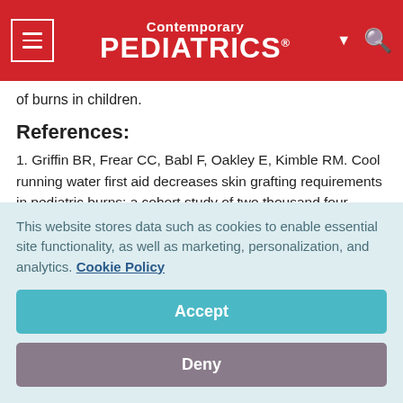Contemporary PEDIATRICS
of burns in children.
References:
1. Griffin BR, Frear CC, Babl F, Oakley E, Kimble RM. Cool running water first aid decreases skin grafting requirements in pediatric burns: a cohort study of two thousand four hundred ninety-five children. Ann Emerg Med. 2020;75(1):75-85.
This website stores data such as cookies to enable essential site functionality, as well as marketing, personalization, and analytics. Cookie Policy
Accept
Deny